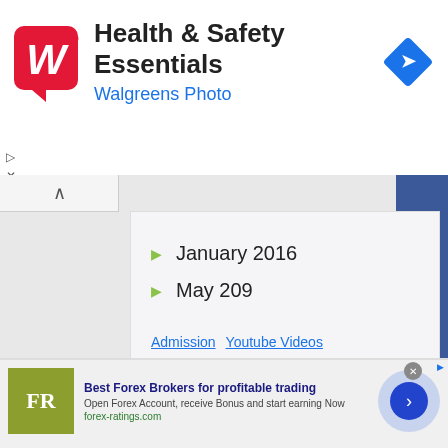[Figure (screenshot): Walgreens Health & Safety Essentials advertisement banner with red Walgreens 'W' logo, navigation diamond icon top right, and ad control buttons on left]
[Figure (screenshot): Collapsed/expanded toggle button with upward caret]
January 2016
May 209
Admission   Youtube Videos   Everything you need   infolinks
[Figure (screenshot): Facebook blue sidebar with 'facebook' text written vertically]
[Figure (screenshot): Best Forex Brokers for profitable trading advertisement with FR logo, description text, and navigation circle button]